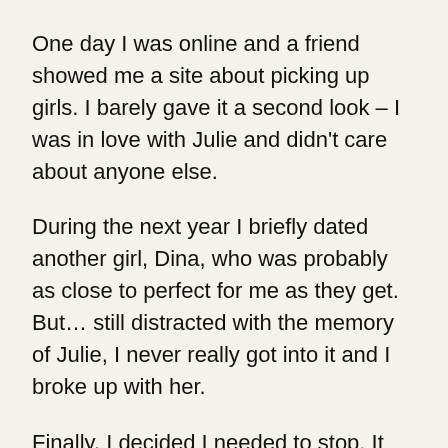One day I was online and a friend showed me a site about picking up girls. I barely gave it a second look – I was in love with Julie and didn't care about anyone else.
During the next year I briefly dated another girl, Dina, who was probably as close to perfect for me as they get. But… still distracted with the memory of Julie, I never really got into it and I broke up with her.
Finally, I decided I needed to stop. It had been three years, Julie had a new boyfriend who she was serious about, and having my entire